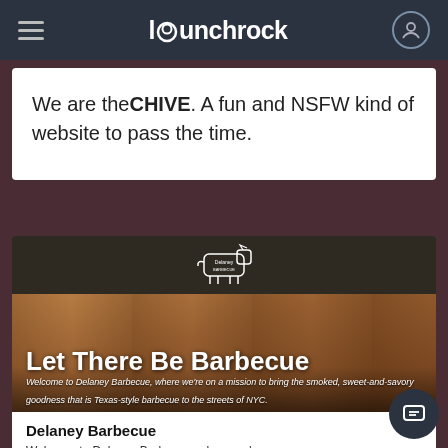launchrock navigation bar
We are theCHIVE. A fun and NSFW kind of website to pass the time.
[Figure (screenshot): Delaney Barbecue campaign page on Launchrock showing restaurant interior photo with cow logo and tagline 'Let There Be Barbecue']
Let There Be Barbecue
Welcome to Delaney Barbecue, where we're on a mission to bring the smoked, sweet-and-savory goodness that is Texas-style barbecue to the streets of NYC.
Delaney Barbecue
Welcome to Delaney Barbecue, where we're on